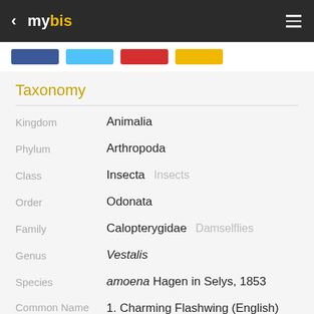mybis
[Figure (screenshot): Navigation tabs with blue, sky blue, red, and gold colors]
Taxonomy
| Field | Value |
| --- | --- |
| Kingdom | Animalia |
| Phylum | Arthropoda |
| Class | Insecta  Insects |
| Order | Odonata |
| Family | Calopterygidae  Damselflies |
| Genus | Vestalis |
| Species | amoena Hagen in Selys, 1853 |
| Common Name | 1. Charming Flashwing (English) |